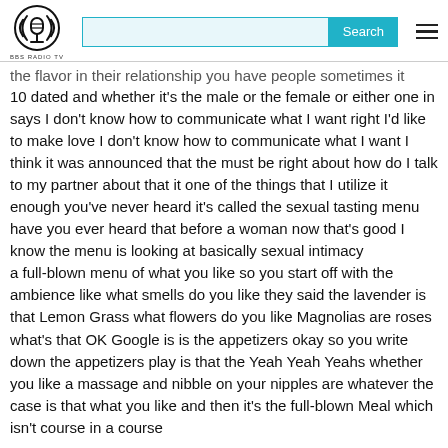BBS RADIO TV [logo and search bar]
the flavor in their relationship you have people sometimes it coming 10 dated and whether it's the male or the female or either one in says I don't know how to communicate what I want right I'd like to make love I don't know how to communicate what I want I think it was announced that the must be right about how do I talk to my partner about that it one of the things that I utilize it enough you've never heard it's called the sexual tasting menu have you ever heard that before a woman now that's good I know the menu is looking at basically sexual intimacy
a full-blown menu of what you like so you start off with the ambience like what smells do you like they said the lavender is that Lemon Grass what flowers do you like Magnolias are roses what's that OK Google is is the appetizers okay so you write down the appetizers play is that the Yeah Yeah Yeahs whether you like a massage and nibble on your nipples are whatever the case is that what you like and then it's the full-blown Meal which isn't course in a course